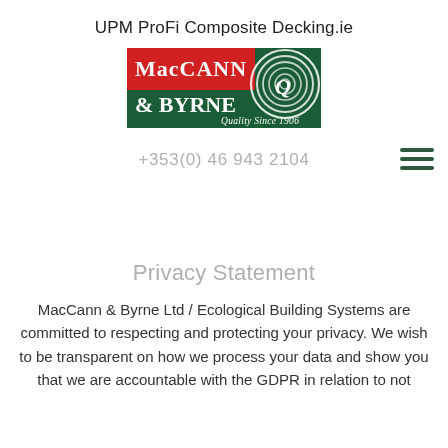UPM ProFi Composite Decking.ie
[Figure (logo): MacCann & Byrne logo with red and green background, concentric circles graphic, text 'MacCANN & BYRNE' and 'Quality Since 1906']
+353(0) 46 943 2104
Privacy Statement
MacCann & Byrne Ltd / Ecological Building Systems are committed to respecting and protecting your privacy. We wish to be transparent on how we process your data and show you that we are accountable with the GDPR in relation to not